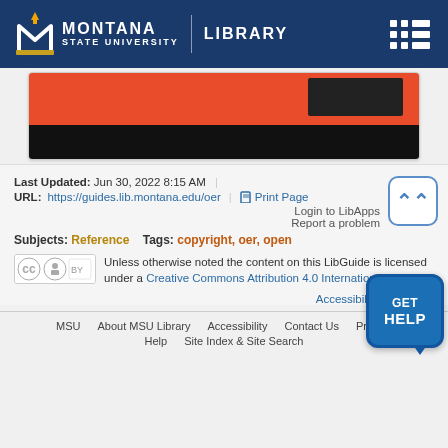Montana State University | Library
[Figure (screenshot): Partial screenshot of a webpage with a red and black banded image visible]
Last Updated: Jun 30, 2022 8:15 AM
URL: https://guides.lib.montana.edu/oer
Login to LibApps
Report a problem
Subjects: Reference   Tags: copyright, oer, open
Unless otherwise noted the content on this LibGuide is licensed under a Creative Commons Attribution 4.0 International License.
Accessibility Statement
MSU   About MSU Library   Accessibility   Contact Us   Privacy
Help   Site Index & Site Search